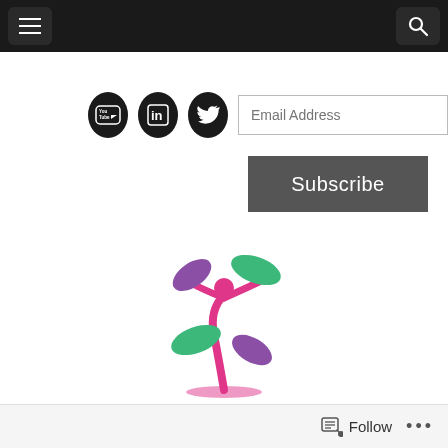[Figure (screenshot): Top navigation bar with hamburger menu icon on left and search icon on right, dark background]
[Figure (screenshot): Social media icons (YouTube, LinkedIn, Twitter) and email address input field]
[Figure (screenshot): Subscribe button in dark gray]
[Figure (logo): Plant/person logo with pink stem, green and purple leaves, pink figure at top]
[Figure (screenshot): Bottom bar with Follow button and ellipsis menu]